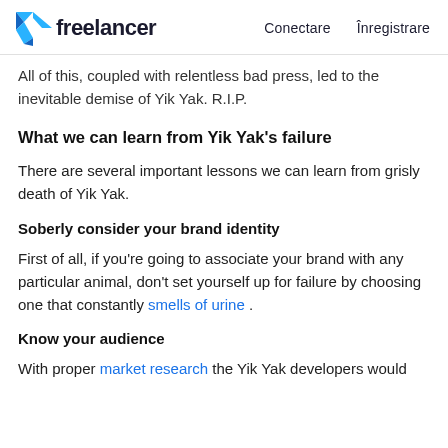freelancer  Conectare  Înregistrare
All of this, coupled with relentless bad press, led to the inevitable demise of Yik Yak. R.I.P.
What we can learn from Yik Yak's failure
There are several important lessons we can learn from grisly death of Yik Yak.
Soberly consider your brand identity
First of all, if you're going to associate your brand with any particular animal, don't set yourself up for failure by choosing one that constantly smells of urine .
Know your audience
With proper market research the Yik Yak developers would